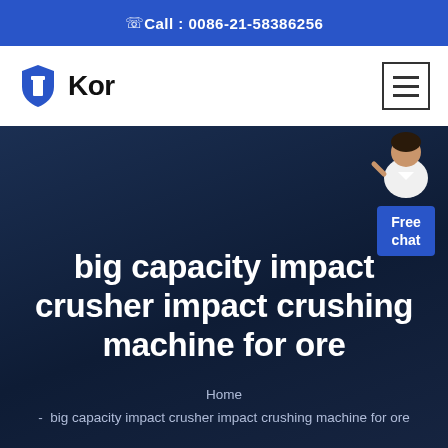☎ Call : 0086-21-58386256
[Figure (logo): Kor brand logo with blue shield icon and bold text 'Kor']
big capacity impact crusher impact crushing machine for ore
Home
- big capacity impact crusher impact crushing machine for ore